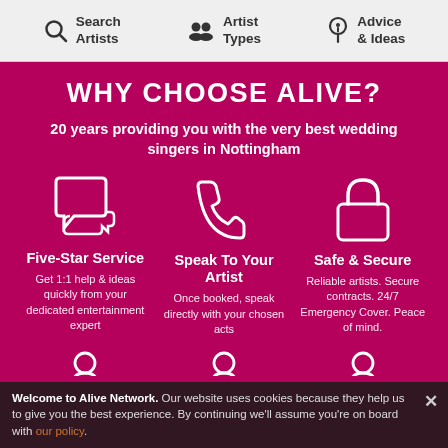Search Artists | Artist Types | Advice & Ideas
WHY CHOOSE ALIVE?
20 years providing you with the very best wedding singers in Nottingham
[Figure (infographic): Three white outline icons on magenta background: speech bubbles (Five-Star Service), telephone handset (Speak To Your Artist), padlock (Safe & Secure)]
Five-Star Service
Get 1:1 help & ideas quickly from your dedicated entertainment expert
Speak To Your Artist
Once booked, speak directly with your chosen acts
Safe & Secure
Reliable artists. Secure contracts. 24/7 Emergency Cover. Peace of mind.
Welcome to Alive Network. Our website uses cookies because they help us to give you the best experience. By continuing we'll assume you're on board with our policy.
6,500 Artists & | Handpicked By | Loved By You